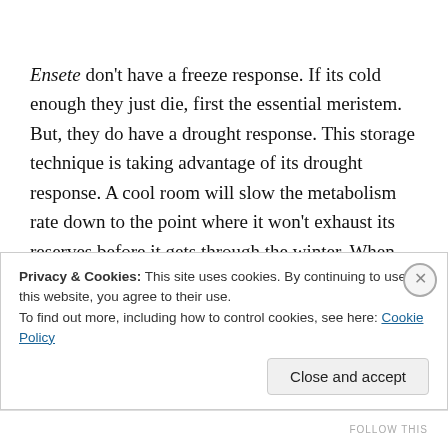Ensete don't have a freeze response.  If its cold enough they just die, first the essential meristem.  But, they do have a drought response.  This storage technique is taking advantage of its drought response.  A cool room will slow the metabolism rate down to the point where it won't exhaust its reserves before it gets through the winter.  When under drought stess an Ensete, unable to draw moisture from the surrounding soil, none in this case, will
Privacy & Cookies: This site uses cookies. By continuing to use this website, you agree to their use.
To find out more, including how to control cookies, see here: Cookie Policy
Close and accept
FOLLOW THIS